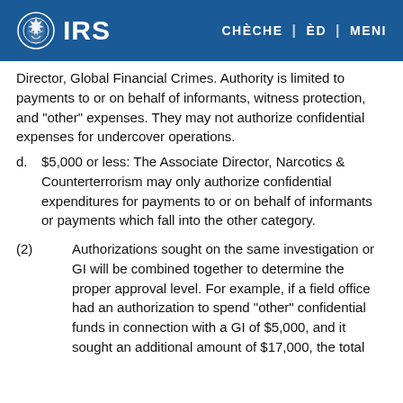IRS | CHÈCHE | ÈD | MENI
Director, Global Financial Crimes. Authority is limited to payments to or on behalf of informants, witness protection, and "other" expenses. They may not authorize confidential expenses for undercover operations.
d. $5,000 or less: The Associate Director, Narcotics & Counterterrorism may only authorize confidential expenditures for payments to or on behalf of informants or payments which fall into the other category.
(2) Authorizations sought on the same investigation or GI will be combined together to determine the proper approval level. For example, if a field office had an authorization to spend "other" confidential funds in connection with a GI of $5,000, and it sought an additional amount of $17,000, the total authorization for this investigation would be...